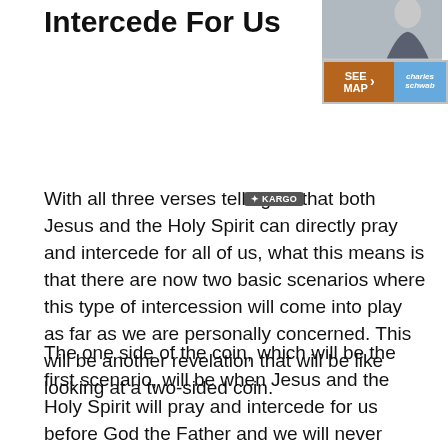Christ and the Holy Spirit Intercede For Us
[Figure (photo): Photo of a woman in a blazer, partially visible in the top right corner, with an advertisement overlay showing 'SEE MAP' button in brown and a Charles Schwab logo button in blue.]
With all three verses telling us that both Jesus and the Holy Spirit can directly pray and intercede for all of us, what this means is that there are now two basic scenarios where this type of intercession will come into play as far as we are personally concerned. This will be another revelation that will be like looking at a two-sided coin.
The one side of the coin, which will be the first scenario, will be when Jesus and the Holy Spirit will pray and intercede for us before God the Father and we will never know